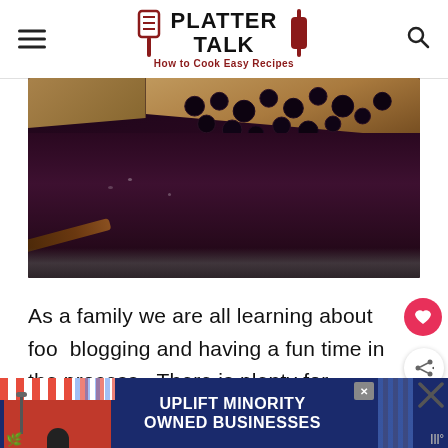PLATTER TALK — How to Cook Easy Recipes
[Figure (photo): Close-up photo of a blueberry pie slice being served from a pie tin, showing dark blueberry filling and golden pastry crust]
As a family we are all learning about food blogging and having a fun time in the process.  There is plenty for everyone to do and
[Figure (other): Advertisement banner: UPLIFT MINORITY OWNED BUSINESSES with store graphic on left and close button on right]